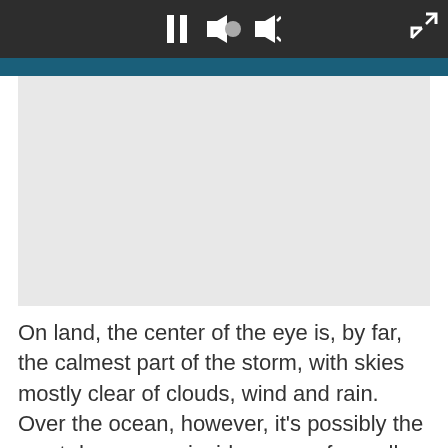[Figure (screenshot): Video player controls bar with pause button, volume/mute controls, and fullscreen expand button on dark background]
[Figure (photo): Light gray video placeholder/thumbnail area]
On land, the center of the eye is, by far, the calmest part of the storm, with skies mostly clear of clouds, wind and rain. Over the ocean, however, it's possibly the most dangerous: inside, waves from all directions slam into each other, creating monster waves as tall